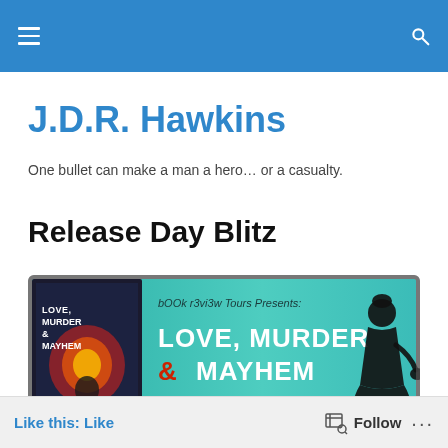Navigation bar with hamburger menu and search icon
J.D.R. Hawkins
One bullet can make a man a hero… or a casualty.
Release Day Blitz
[Figure (illustration): Book release day blitz banner for 'Love, Murder & Mayhem' anthology presented by bOOk r3vi3w Tours. Features book cover on left, teal background with bold white text reading 'Love, Murder & Mayhem' and '11TH JULY ~ Release Day Blitz ~', silhouette of a woman on the right.]
Like this: Like   Follow   ...